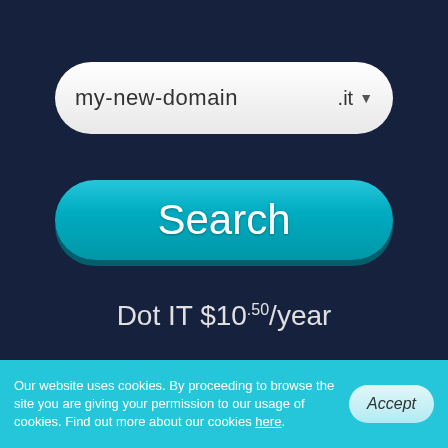[Figure (screenshot): Domain search input field showing 'my-new-domain' with '.it' extension and dropdown arrow, styled as a white rounded pill on dark background]
[Figure (screenshot): Teal/cyan Search button styled as a large rounded pill with white text 'Search']
Dot IT $10.50/year
or 100% free with
Our website uses cookies. By proceeding to browse the site you are giving your permission to our usage of cookies. Find out more about our cookies here.